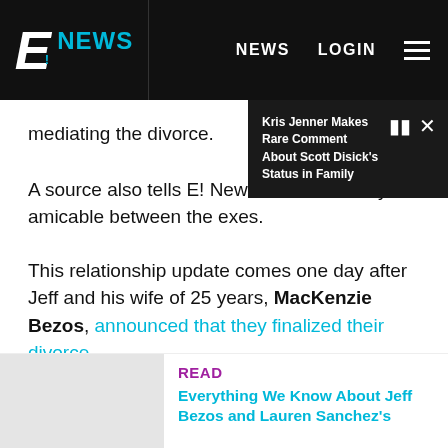E! NEWS   NEWS   LOGIN
Kris Jenner Makes Rare Comment About Scott Disick's Status in Family
mediating the divorce.
A source also tells E! News that it's all very amicable between the exes.
This relationship update comes one day after Jeff and his wife of 25 years, MacKenzie Bezos, announced that they finalized their divorce.
READ
Everything We Know About Jeff Bezos and Lauren Sanchez's...